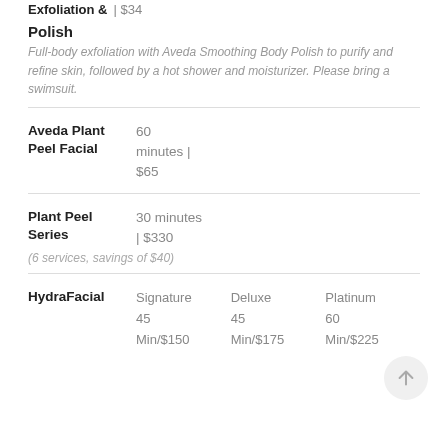Exfoliation & | $34
Polish
Full-body exfoliation with Aveda Smoothing Body Polish to purify and refine skin, followed by a hot shower and moisturizer. Please bring a swimsuit.
Aveda Plant Peel Facial   60 minutes | $65
Plant Peel Series   30 minutes | $330
(6 services, savings of $40)
HydraFacial   Signature 45 Min/$150   Deluxe 45 Min/$175   Platinum 60 Min/$225